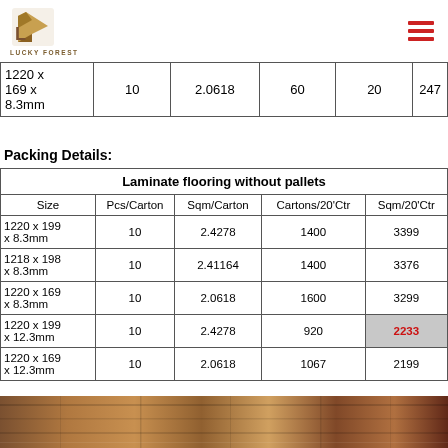LUCKY FOREST logo and navigation
|  |  |  |  |  |  |
| --- | --- | --- | --- | --- | --- |
| 1220 x
169 x
8.3mm | 10 | 2.0618 | 60 | 20 | 247 |
Packing Details:
| Size | Pcs/Carton | Sqm/Carton | Cartons/20'Ctr | Sqm/20'Ctr |
| --- | --- | --- | --- | --- |
| 1220 x 199 x 8.3mm | 10 | 2.4278 | 1400 | 3399 |
| 1218 x 198 x 8.3mm | 10 | 2.41164 | 1400 | 3376 |
| 1220 x 169 x 8.3mm | 10 | 2.0618 | 1600 | 3299 |
| 1220 x 199 x 12.3mm | 10 | 2.4278 | 920 | 2233 |
| 1220 x 169 x 12.3mm | 10 | 2.0618 | 1067 | 2199 |
[Figure (photo): Close-up photo of laminate flooring surface texture]